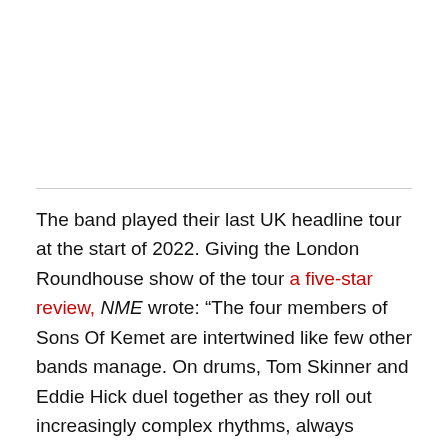The band played their last UK headline tour at the start of 2022. Giving the London Roundhouse show of the tour a five-star review, NME wrote: “The four members of Sons Of Kemet are intertwined like few other bands manage. On drums, Tom Skinner and Eddie Hick duel together as they roll out increasingly complex rhythms, always captivating in the way they interconnect.